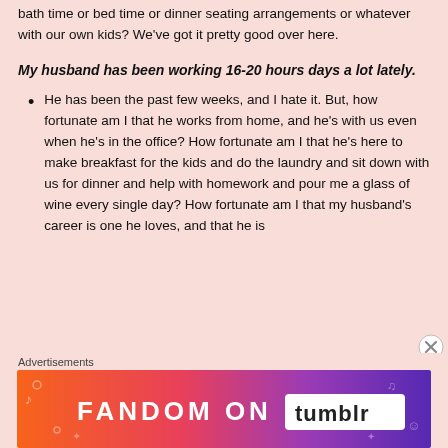bath time or bed time or dinner seating arrangements or whatever with our own kids? We've got it pretty good over here.
My husband has been working 16-20 hours days a lot lately.
He has been the past few weeks, and I hate it. But, how fortunate am I that he works from home, and he's with us even when he's in the office? How fortunate am I that he's here to make breakfast for the kids and do the laundry and sit down with us for dinner and help with homework and pour me a glass of wine every single day? How fortunate am I that my husband's career is one he loves, and that he is
Advertisements
[Figure (infographic): Advertisement banner for Fandom on Tumblr with colorful gradient background from orange to purple with decorative icons and text 'FANDOM ON tumblr']